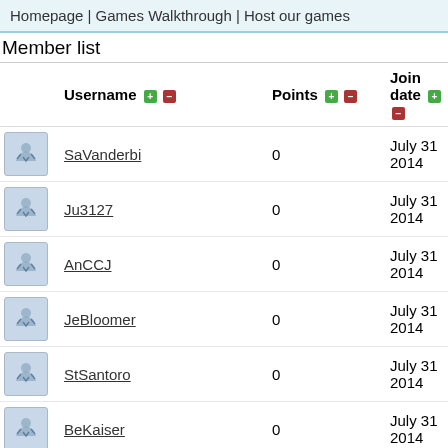Homepage | Games Walkthrough | Host our games
Member list
|  | Username | Points | Join date |
| --- | --- | --- | --- |
| [avatar] | SaVanderbi | 0 | July 31 2014 |
| [avatar] | Ju3127 | 0 | July 31 2014 |
| [avatar] | AnCCJ | 0 | July 31 2014 |
| [avatar] | JeBloomer | 0 | July 31 2014 |
| [avatar] | StSantoro | 0 | July 31 2014 |
| [avatar] | BeKaiser | 0 | July 31 2014 |
| [avatar] | BrLyke | 0 | July 31 2014 |
| [avatar] | LeFairweat | 0 | July 31 2014 |
| [avatar] |  |  |  |